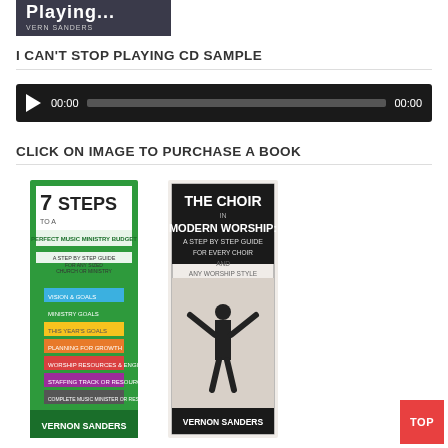[Figure (photo): Partial view of a book cover titled 'Playing...' by Vern Sanders]
I CAN'T STOP PLAYING CD SAMPLE
[Figure (other): Audio player with play button, time display '00:00', progress bar, and end time '00:00']
CLICK ON IMAGE TO PURCHASE A BOOK
[Figure (photo): Book cover: 7 Steps to a Perfect Music Ministry Budget by Vernon Sanders]
[Figure (photo): Book cover: The Choir in Modern Worship: A Step by Step Guide for Every Choir and Any Worship Style by Vernon Sanders]